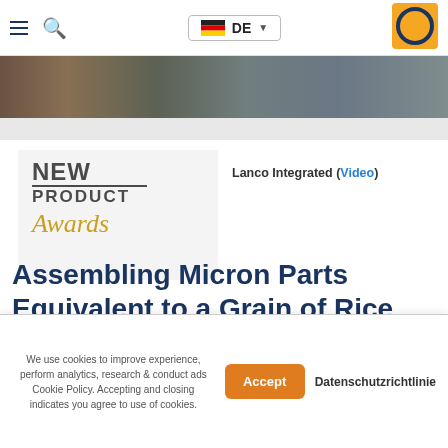Navigation bar with hamburger menu, search icon, DE language selector, and company logo
[Figure (photo): Hero image strip showing industrial/assembly scene]
[Figure (logo): New Product Awards logo with gold script 'Awards' text]
Lanco Integrated (Video)
Assembling Micron Parts Equivalent to a Grain of Rice
Westbrook, ME September 15, 2021 – – Lanco
We use cookies to improve experience, perform analytics, research & conduct ads Cookie Policy. Accepting and closing indicates you agree to use of cookies.